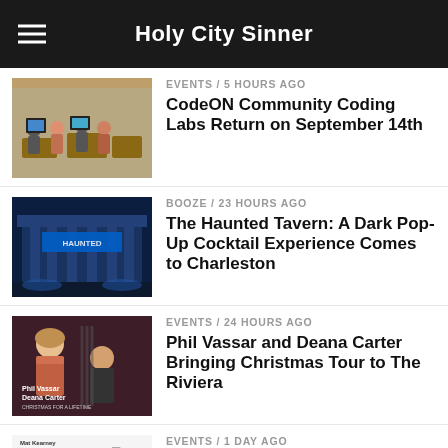Holy City Sinner
EVENTS / 5 hours ago
CodeON Community Coding Labs Return on September 14th
BOOZE / 23 hours ago
The Haunted Tavern: A Dark Pop-Up Cocktail Experience Comes to Charleston
EVENTS / 24 hours ago
Phil Vassar and Deana Carter Bringing Christmas Tour to The Riviera
EVENTS / 1 day ago
Mat Kearney Brings Acoustic Trio Tour to The Riviera
EVENTS / 2 days ago